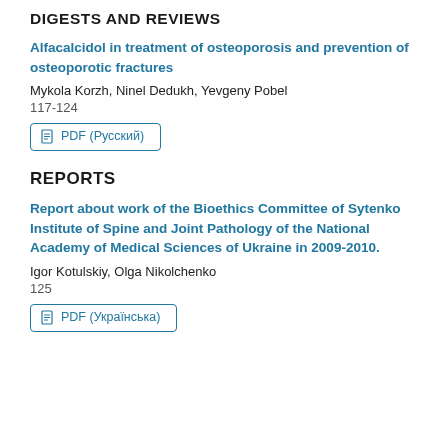DIGESTS AND REVIEWS
Alfacalcidol in treatment of osteoporosis and prevention of osteoporotic fractures
Mykola Korzh, Ninel Dedukh, Yevgeny Pobel
117-124
PDF (Русский)
REPORTS
Report about work of the Bioethics Committee of Sytenko Institute of Spine and Joint Pathology of the National Academy of Medical Sciences of Ukraine in 2009-2010.
Igor Kotulskiy, Olga Nikolchenko
125
PDF (Українська)